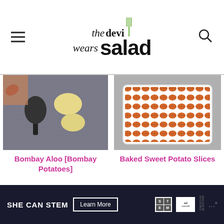the devil wears salad - website header with logo and navigation
[Figure (photo): Overhead photo showing a cast iron pan and potatoes on a textured cloth surface - Bombay Aloo card image]
[Figure (photo): Overhead photo of baked sweet potato slices in a white rectangular baking dish on a grey surface]
Bombay Aloo [Bombay Potatoes]
Baked Sweet Potato Slices
SHE CAN STEM  Learn More  [STEM logo] [Ad Council logo] [waves logo]